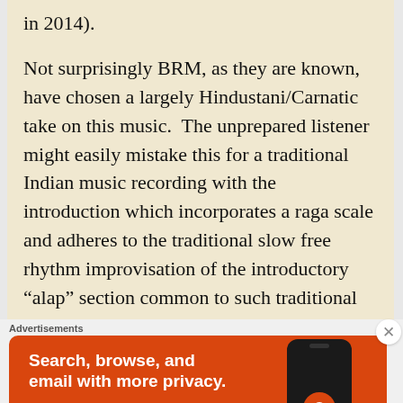in 2014).
Not surprisingly BRM, as they are known, have chosen a largely Hindustani/Carnatic take on this music.  The unprepared listener might easily mistake this for a traditional Indian music recording with the introduction which incorporates a raga scale and adheres to the traditional slow free rhythm improvisation of the introductory “alap” section common to such traditional or classical performances.
The familiar sound of these (largely) South
Advertisements
[Figure (screenshot): DuckDuckGo advertisement banner: orange background with text 'Search, browse, and email with more privacy. All in One Free App' and a smartphone image showing the DuckDuckGo logo]